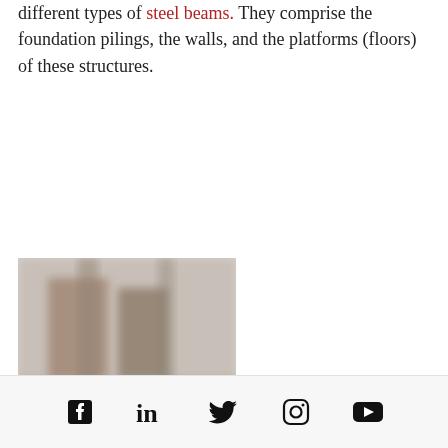different types of steel beams. They comprise the foundation pilings, the walls, and the platforms (floors) of these structures.
[Figure (photo): A blurred photograph showing steel beams or construction elements in a building structure.]
Steel beams are a crucial support for the construction of buildings, structures, and any construction project. It comes in various size ranges, making it specifically applicable for certain applications. There are numerous
Social media icons: Facebook, LinkedIn, Twitter, Instagram, YouTube